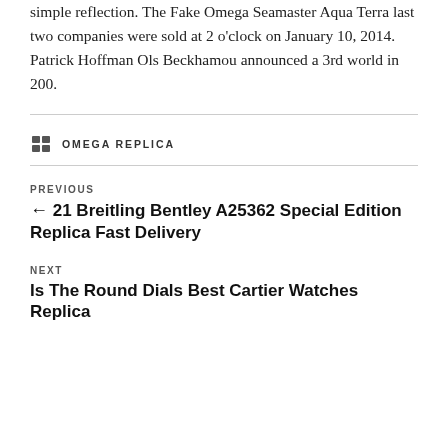adds elegance and elegance of the clock. Record a simple reflection. The Fake Omega Seamaster Aqua Terra last two companies were sold at 2 o'clock on January 10, 2014. Patrick Hoffman Ols Beckhamou announced a 3rd world in 200.
CATEGORIES: OMEGA REPLICA
PREVIOUS
← 21 Breitling Bentley A25362 Special Edition Replica Fast Delivery
NEXT
Is The Round Dials Best Cartier Watches Replica